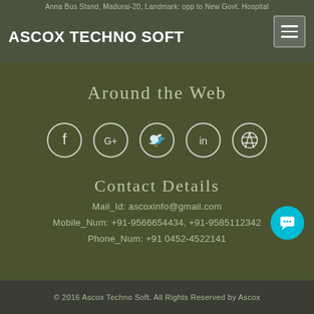Anna Bus Stand, Madurai-20, Landmark: opp to New Govt. Hospital
ASCOX TECHNO SOFT
Around the Web
[Figure (infographic): Five social media icons in circles: Facebook (f), Google+ (G+), Twitter (bird), LinkedIn (in), Dribbble (asterisk)]
Contact Details
Mail_Id: ascoxinfo@gmail.com
Mobile_Num: +91-9566654434, +91-9585112342
Phone_Num: +91 0452-4522141
© 2016 Ascox Techno Soft. All Rights Reserved by Ascox